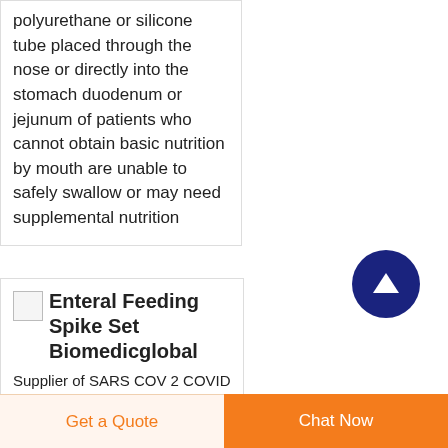polyurethane or silicone tube placed through the nose or directly into the stomach duodenum or jejunum of patients who cannot obtain basic nutrition by mouth are unable to safely swallow or may need supplemental nutrition
[Figure (other): Dark navy blue circular scroll-to-top button with upward arrow icon]
Enteral Feeding Spike Set Biomedicglobal
Supplier of SARS COV 2 COVID 19 Rapid Test Kit Quick and accurate detection...
Get a Quote
Chat Now